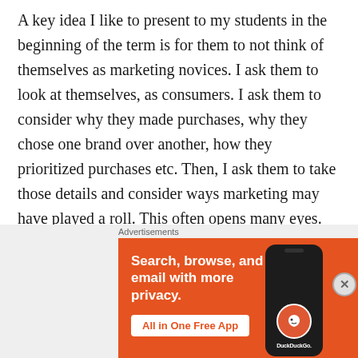A key idea I like to present to my students in the beginning of the term is for them to not think of themselves as marketing novices. I ask them to look at themselves, as consumers. I ask them to consider why they made purchases, why they chose one brand over another, how they prioritized purchases etc. Then, I ask them to take those details and consider ways marketing may have played a roll. This often opens many eyes. Then, I will also ask student to think of themselves as a product, and ask them ways that they could address the 4 P's (or 7 P's). Students begin to think from a different perspective. I tell my students, " YOU are the most important product you wi...
[Figure (other): DuckDuckGo advertisement banner with orange background. Text reads 'Search, browse, and email with more privacy. All in One Free App' with a DuckDuckGo logo on a phone mockup on the right side.]